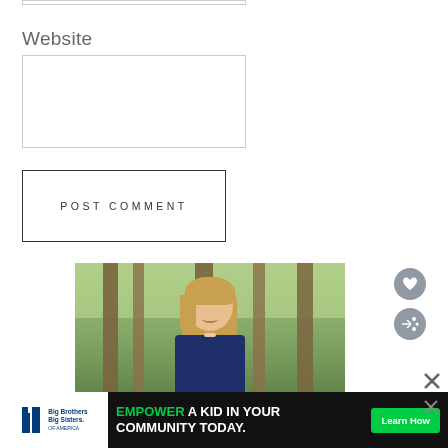Website
[Figure (photo): A smiling woman with blonde hair standing in a wooded area with trees in the background]
[Figure (infographic): Big Brothers Big Sisters advertisement banner: 'EMPOWER A KID IN YOUR COMMUNITY TODAY.' with Learn How button]